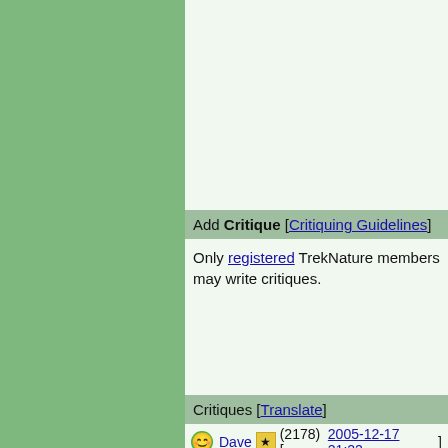Add Critique [Critiquing Guidelines]
Only registered TrekNature members may write critiques.
Critiques [Translate]
Dave (2178) [2005-12-17 21:22]
Felipe,
You never cease to amaze me! The work